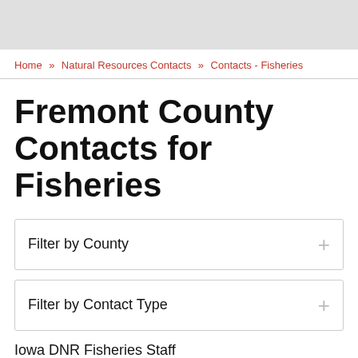[Figure (other): Gray header image banner at top of page]
Home » Natural Resources Contacts » Contacts - Fisheries
Fremont County Contacts for Fisheries
Filter by County +
Filter by Contact Type +
Iowa DNR Fisheries Staff
are located throughout the state